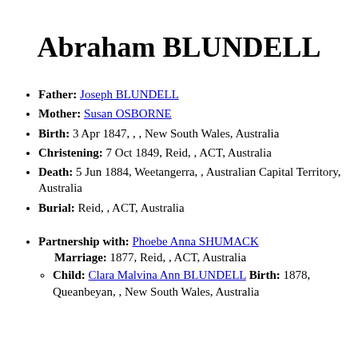Abraham BLUNDELL
Father: Joseph BLUNDELL
Mother: Susan OSBORNE
Birth: 3 Apr 1847, , , New South Wales, Australia
Christening: 7 Oct 1849, Reid, , ACT, Australia
Death: 5 Jun 1884, Weetangerra, , Australian Capital Territory, Australia
Burial: Reid, , ACT, Australia
Partnership with: Phoebe Anna SHUMACK Marriage: 1877, Reid, , ACT, Australia Child: Clara Malvina Ann BLUNDELL Birth: 1878, Queanbeyan, , New South Wales, Australia